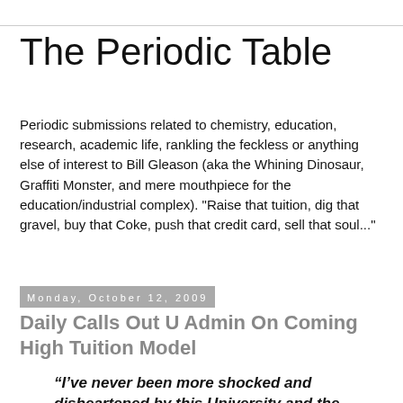The Periodic Table
Periodic submissions related to chemistry, education, research, academic life, rankling the feckless or anything else of interest to Bill Gleason (aka the Whining Dinosaur, Graffiti Monster, and mere mouthpiece for the education/industrial complex). "Raise that tuition, dig that gravel, buy that Coke, push that credit card, sell that soul..."
Monday, October 12, 2009
Daily Calls Out U Admin On Coming High Tuition Model
“I’ve never been more shocked and disheartened by this University and the philosophy of its